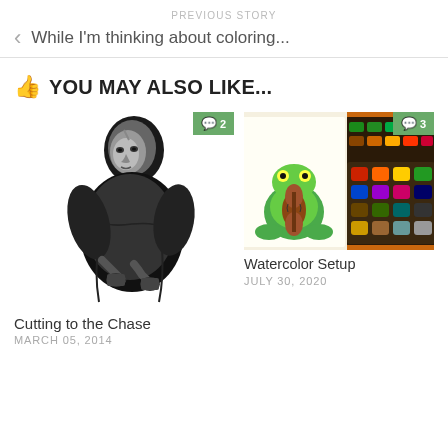PREVIOUS STORY
While I'm thinking about coloring...
YOU MAY ALSO LIKE...
[Figure (illustration): Black and white sketch illustration of a man holding binoculars or small objects up to his face, looking upward]
Cutting to the Chase
MARCH 05, 2014
[Figure (photo): Color photo of watercolor paint sets and an open coloring book with a green frog and violin illustration]
Watercolor Setup
JULY 30, 2020